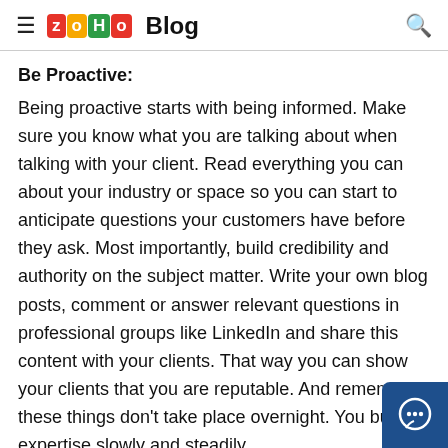≡ ZOHO Blog 🔍
Be Proactive:
Being proactive starts with being informed. Make sure you know what you are talking about when talking with your client. Read everything you can about your industry or space so you can start to anticipate questions your customers have before they ask. Most importantly, build credibility and authority on the subject matter. Write your own blog posts, comment or answer relevant questions in professional groups like LinkedIn and share this content with your clients. That way you can show your clients that you are reputable. And remember, these things don't take place overnight. You build expertise slowly and steadily